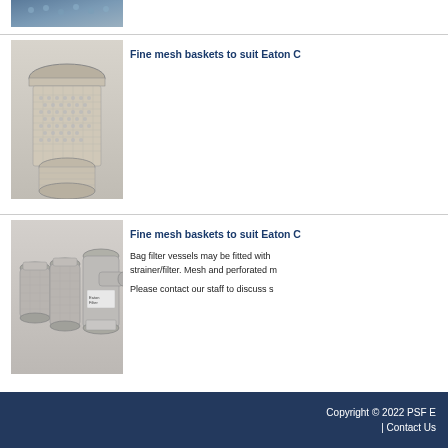[Figure (photo): Partial view of mesh basket top, cut off at top of page]
[Figure (photo): Fine mesh perforated cylindrical baskets stacked, metallic stainless steel]
Fine mesh baskets to suit Eaton C
[Figure (photo): Three metallic bag filter vessels/baskets of different sizes laid on a surface]
Fine mesh baskets to suit Eaton C
Bag filter vessels may be fitted with strainer/filter. Mesh and perforated m
Please contact our staff to discuss s
Copyright © 2022 PSF E | Contact Us